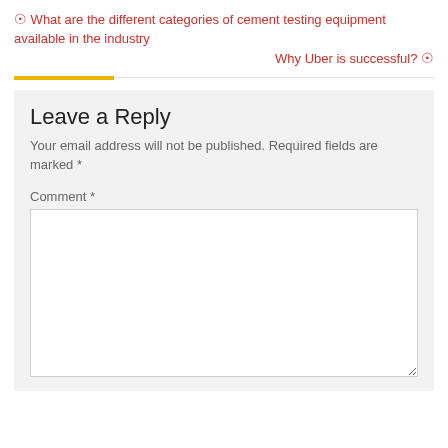⊙ What are the different categories of cement testing equipment available in the industry
Why Uber is successful? ⊙
Leave a Reply
Your email address will not be published. Required fields are marked *
Comment *